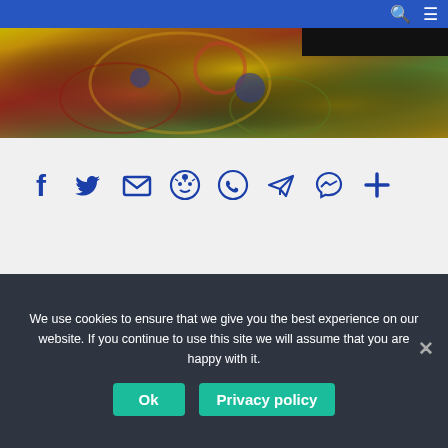Navigation bar with search and menu icons
[Figure (photo): Colorful patterned fabric or textile, close-up, with yellow, red, and green tones]
[Figure (infographic): Social share icons row: Facebook, Twitter, Email, Reddit, WhatsApp, Telegram, Messenger, plus/more]
← Is locking FPS better?
Do you tip tattoo artists in UK? →
We use cookies to ensure that we give you the best experience on our website. If you continue to use this site we will assume that you are happy with it.
Ok
Privacy policy